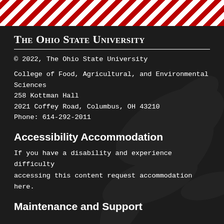[Figure (illustration): Diagonal red and white striped decorative bar at the top of the page]
The Ohio State University
© 2022, The Ohio State University
College of Food, Agricultural, and Environmental Sciences
258 Kottman Hall
2021 Coffey Road, Columbus, OH 43210
Phone: 614-292-2011
Accessibility Accommodation
If you have a disability and experience difficulty accessing this content request accommodation here.
Maintenance and Support